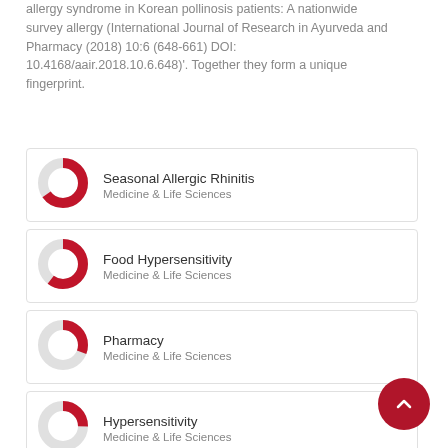allergy syndrome in Korean pollinosis patients: A nationwide survey allergy (International Journal of Research in Ayurveda and Pharmacy (2018) 10:6 (648-661) DOI: 10.4168/aair.2018.10.6.648)'. Together they form a unique fingerprint.
[Figure (donut-chart): Donut chart showing high fill (~90%) for Seasonal Allergic Rhinitis, Medicine & Life Sciences]
Seasonal Allergic Rhinitis
Medicine & Life Sciences
[Figure (donut-chart): Donut chart showing high fill (~85%) for Food Hypersensitivity, Medicine & Life Sciences]
Food Hypersensitivity
Medicine & Life Sciences
[Figure (donut-chart): Donut chart showing medium fill (~55%) for Pharmacy, Medicine & Life Sciences]
Pharmacy
Medicine & Life Sciences
[Figure (donut-chart): Donut chart showing medium fill (~50%) for Hypersensitivity, Medicine & Life Sciences]
Hypersensitivity
Medicine & Life Sciences
[Figure (donut-chart): Donut chart showing medium fill (~48%) for Allergy and Immunology, Medicine & Life Sciences]
Allergy and Immunology
Medicine & Life Sciences